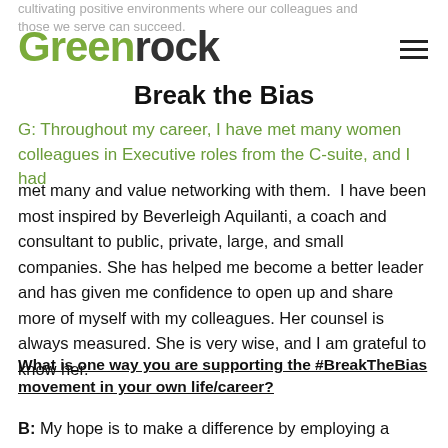cultivating positive environments where our colleagues and those we serve can succeed.
[Figure (logo): Greenrock logo with 'Green' in olive/green color and 'rock' in dark gray]
Break the Bias
G: Throughout my career, I have met many women colleagues in Executive roles from the C-suite, and I had met many and value networking with them.  I have been most inspired by Beverleigh Aquilanti, a coach and consultant to public, private, large, and small companies. She has helped me become a better leader and has given me confidence to open up and share more of myself with my colleagues. Her counsel is always measured. She is very wise, and I am grateful to know her.
What is one way you are supporting the #BreakTheBias movement in your own life/career?
B: My hope is to make a difference by employing a practice